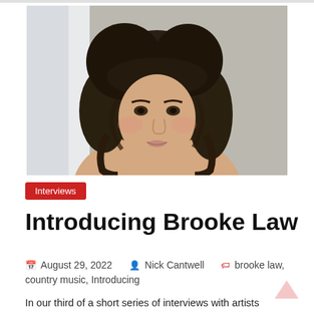[Figure (photo): Portrait photo of Brooke Law, a woman with long curly brown hair and bangs, looking to the side near a window with soft light]
Interviews
Introducing Brooke Law
August 29, 2022   Nick Cantwell   brooke law, country music, Introducing
In our third of a short series of interviews with artists